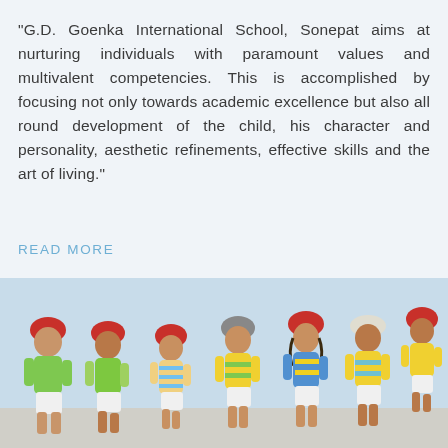“G.D. Goenka International School, Sonepat aims at nurturing individuals with paramount values and multivalent competencies. This is accomplished by focusing not only towards academic excellence but also all round development of the child, his character and personality, aesthetic refinements, effective skills and the art of living.”
READ MORE
[Figure (photo): Group of school children wearing red helmets and colorful uniforms (green, yellow, blue) posing together outdoors, leaning forward and smiling at the camera.]